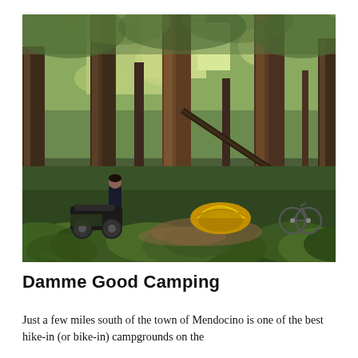[Figure (photo): A forest campsite scene with tall redwood trees, dense green ferns in the foreground, a yellow dome tent pitched among the trees, a person standing to the left near motorcycles, and a bicycle visible on the right side.]
Damme Good Camping
Just a few miles south of the town of Mendocino is one of the best hike-in (or bike-in) campgrounds on the